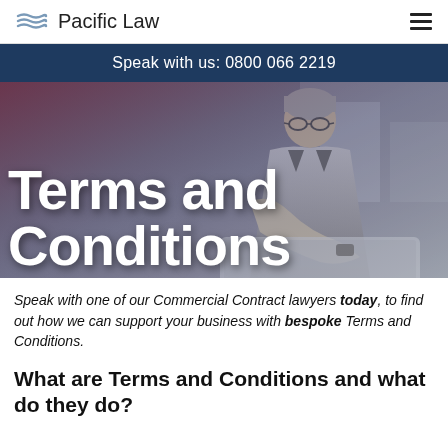Pacific Law
Speak with us: 0800 066 2219
[Figure (photo): Middle-aged man with grey hair and glasses leaning over a laptop, wearing a grey suit. Hero banner image for Terms and Conditions page.]
Terms and Conditions
Speak with one of our Commercial Contract lawyers today, to find out how we can support your business with bespoke Terms and Conditions.
What are Terms and Conditions and what do they do?